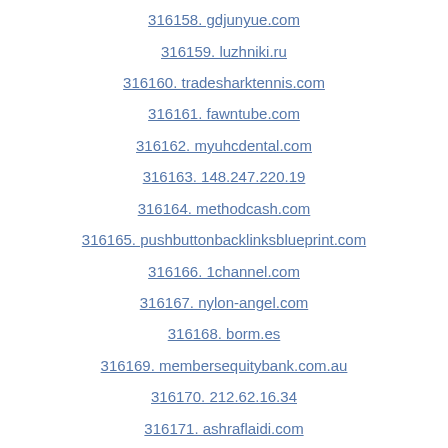316158. gdjunyue.com
316159. luzhniki.ru
316160. tradesharktennis.com
316161. fawntube.com
316162. myuhcdental.com
316163. 148.247.220.19
316164. methodcash.com
316165. pushbuttonbacklinksblueprint.com
316166. 1channel.com
316167. nylon-angel.com
316168. borm.es
316169. membersequitybank.com.au
316170. 212.62.16.34
316171. ashraflaidi.com